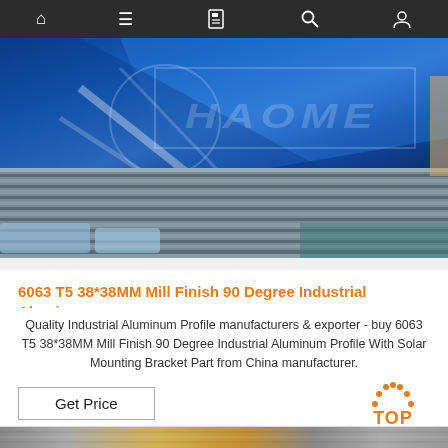Navigation bar with home, menu, card, search, and user icons
[Figure (photo): Stacked aluminum sheets with blue protective plastic film. Brand watermark HAOME visible on the blue film. Sheets appear to be flat metal plates stacked together.]
6063 T5 38*38MM Mill Finish 90 Degree Industrial Alumin…
Quality Industrial Aluminum Profile manufacturers & exporter - buy 6063 T5 38*38MM Mill Finish 90 Degree Industrial Aluminum Profile With Solar Mounting Bracket Part from China manufacturer.
Get Price
[Figure (other): TOP button with orange dotted arc above text]
[Figure (photo): Partial bottom strip showing additional product images]